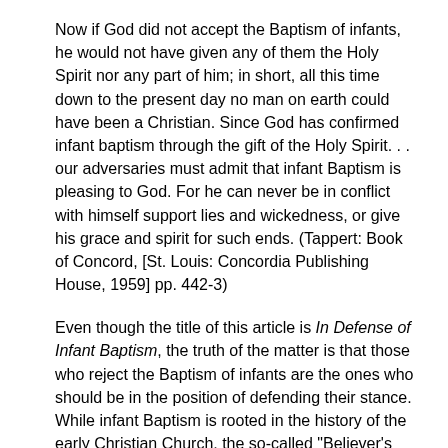Now if God did not accept the Baptism of infants, he would not have given any of them the Holy Spirit nor any part of him; in short, all this time down to the present day no man on earth could have been a Christian. Since God has confirmed infant baptism through the gift of the Holy Spirit. . . our adversaries must admit that infant Baptism is pleasing to God. For he can never be in conflict with himself support lies and wickedness, or give his grace and spirit for such ends. (Tappert: Book of Concord, [St. Louis: Concordia Publishing House, 1959] pp. 442-3)
Even though the title of this article is In Defense of Infant Baptism, the truth of the matter is that those who reject the Baptism of infants are the ones who should be in the position of defending their stance. While infant Baptism is rooted in the history of the early Christian Church, the so-called "Believer's Baptism" originates in the post-